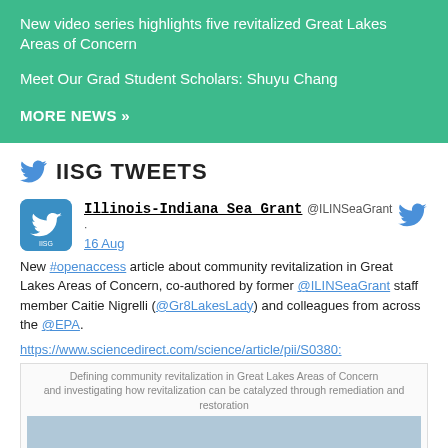New video series highlights five revitalized Great Lakes Areas of Concern
Meet Our Grad Student Scholars: Shuyu Chang
MORE NEWS »
IISG TWEETS
Illinois-Indiana Sea Grant @ILINSeaGrant · 16 Aug
New #openaccess article about community revitalization in Great Lakes Areas of Concern, co-authored by former @ILINSeaGrant staff member Caitie Nigrelli (@Gr8LakesLady) and colleagues from across the @EPA.
https://www.sciencedirect.com/science/article/pii/S0380...
[Figure (screenshot): Article preview thumbnail with text: Defining community revitalization in Great Lakes Areas of Concern and investigating how revitalization can be catalyzed through remediation and restoration]